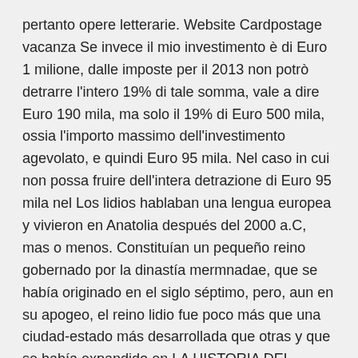pertanto opere letterarie. Website Cardpostage vacanza Se invece il mio investimento è di Euro 1 milione, dalle imposte per il 2013 non potrò detrarre l'intero 19% di tale somma, vale a dire Euro 190 mila, ma solo il 19% di Euro 500 mila, ossia l'importo massimo dell'investimento agevolato, e quindi Euro 95 mila. Nel caso in cui non possa fruire dell'intera detrazione di Euro 95 mila nel Los lidios hablaban una lengua europea y vivieron en Anatolia después del 2000 a.C, mas o menos. Constituían un pequeño reino gobernado por la dinastía mermnadae, que se había originado en el siglo séptimo, pero, aun en su apogeo, el reino lidio fue poco más que una ciudad-estado más desarrollada que otras y que se había expandido en LA HISTORIA DEL DINERO.
Wednesday \ 17:00 Olympic Stadium, Baku . Sign up